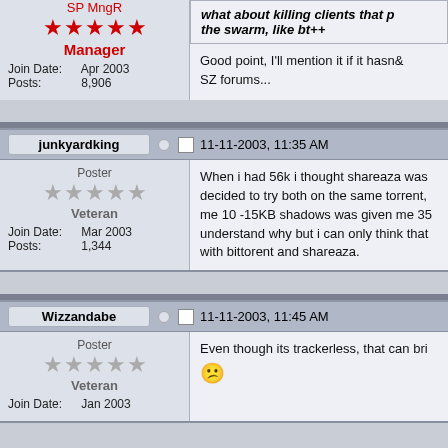SP MngR
Manager
Join Date: Apr 2003
Posts: 8,906
what about killing clients that poison the swarm, like bt++
Good point, I&#39;ll mention it if it hasn't already been brought up on the SZ forums...
junkyardking
11-11-2003, 11:35 AM
Poster
Veteran
Join Date: Mar 2003
Posts: 1,344
When i had 56k i thought shareaza was slower but now i have broadband i decided to try both on the same torrent, bittorent was giving me 10 -15KB shadows was given me 35+ i really don't understand why but i can only think that there was something wrong with bittorent and shareaza.
Wizzandabe
11-11-2003, 11:45 AM
Poster
Veteran
Join Date: Jan 2003
Even though its trackerless, that can bri